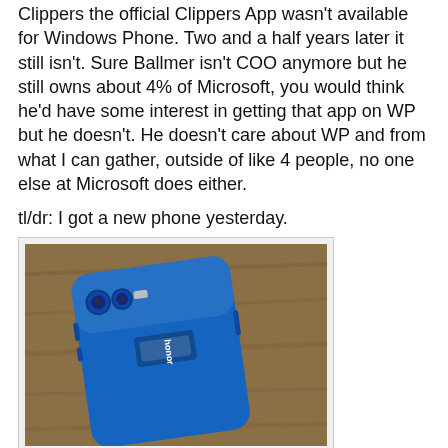Clippers the official Clippers App wasn't available for Windows Phone. Two and a half years later it still isn't. Sure Ballmer isn't COO anymore but he still owns about 4% of Microsoft, you would think he'd have some interest in getting that app on WP but he doesn't. He doesn't care about WP and from what I can gather, outside of like 4 people, no one else at Microsoft does either.
tl/dr: I got a new phone yesterday.
[Figure (photo): A blue Honor 8 smartphone lying on a wooden surface, showing the back of the device with the Honor logo and dual camera setup visible.]
I don't really know anything about Huawei, I know they made one of the Nexus phones before Google ditched that line in favor of their new brand of Pixel phones. The Honor 8 ticked all my boxes as far as android phones went. It even has a dual-camera set up on the back like the new iPhone which